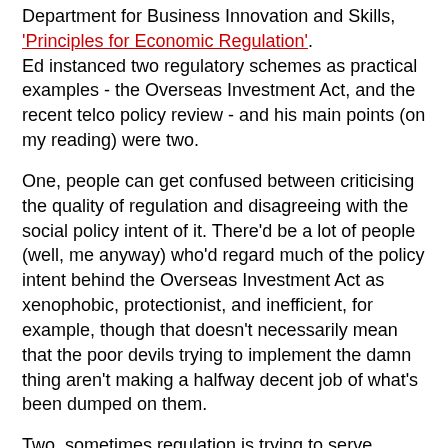Department for Business Innovation and Skills, 'Principles for Economic Regulation'. Ed instanced two regulatory schemes as practical examples - the Overseas Investment Act, and the recent telco policy review - and his main points (on my reading) were two.
One, people can get confused between criticising the quality of regulation and disagreeing with the social policy intent of it. There'd be a lot of people (well, me anyway) who'd regard much of the policy intent behind the Overseas Investment Act as xenophobic, protectionist, and inefficient, for example, though that doesn't necessarily mean that the poor devils trying to implement the damn thing aren't making a halfway decent job of what's been dumped on them.
Two, sometimes regulation is trying to serve multiple and possibly mutually inconsistent purposes at once, which describes the telco policy review in a nutshell. You're unlikely to be able to satisfy everyone - if you want cost-based (and therefore probably lower) pricing for the copper network, you're going to upset the folk who don't want cheaper copper-based internet services getting in the way of the